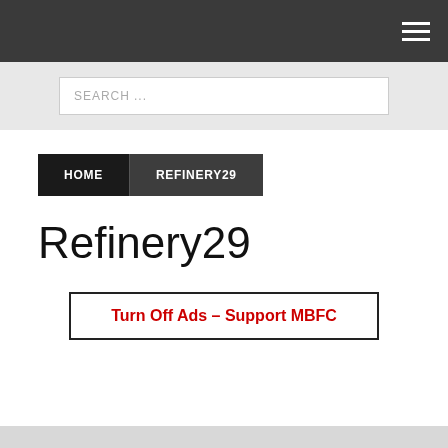[Figure (screenshot): Dark navigation bar with hamburger menu icon (three horizontal white lines) on the right]
[Figure (screenshot): Light gray search bar area with white search input box containing placeholder text SEARCH ...]
HOME   REFINERY29
Refinery29
Turn Off Ads – Support MBFC